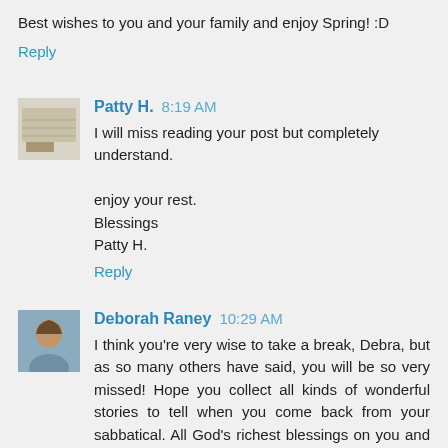Best wishes to you and your family and enjoy Spring! :D
Reply
Patty H. 8:19 AM
I will miss reading your post but completely understand.

enjoy your rest.
Blessings
Patty H.
Reply
Deborah Raney 10:29 AM
I think you're very wise to take a break, Debra, but as so many others have said, you will be so very missed! Hope you collect all kinds of wonderful stories to tell when you come back from your sabbatical. All God's richest blessings on you and your family.
Reply